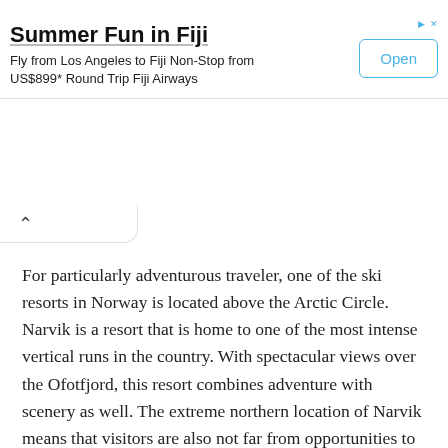[Figure (screenshot): Advertisement banner: 'Summer Fun in Fiji' with subtitle 'Fly from Los Angeles to Fiji Non-Stop from US$899* Round Trip Fiji Airways' and an 'Open' button, plus ad icons in top right.]
For particularly adventurous traveler, one of the ski resorts in Norway is located above the Arctic Circle. Narvik is a resort that is home to one of the most intense vertical runs in the country. With spectacular views over the Ofotfjord, this resort combines adventure with scenery as well. The extreme northern location of Narvik means that visitors are also not far from opportunities to see the Northern Lights.
While Norwegian ski resorts are the most popular choice for travelers, resorts are also available for those who are interested in summer activities. Fishing, hiking, kayaking, and mountain climbing are all popular activities in the short summer. Mountain lodges and resorts can add a cozy touch